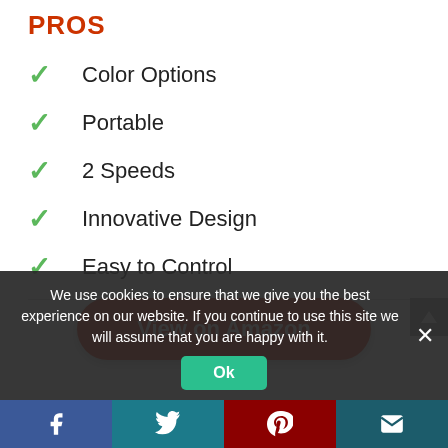PROS
Color Options
Portable
2 Speeds
Innovative Design
Easy to Control
[Figure (other): Red rounded button labeled 'View on Amazon']
We use cookies to ensure that we give you the best experience on our website. If you continue to use this site we will assume that you are happy with it.
Facebook | Twitter | Pinterest | Email